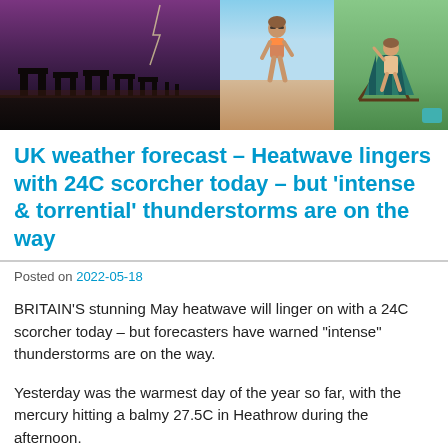[Figure (photo): Three photos side by side: left shows Stonehenge at dusk with purple stormy sky, center shows a woman in a bikini on a beach, right shows a person in a deck chair on grass.]
UK weather forecast – Heatwave lingers with 24C scorcher today – but 'intense & torrential' thunderstorms are on the way
Posted on 2022-05-18
BRITAIN'S stunning May heatwave will linger on with a 24C scorcher today – but forecasters have warned "intense" thunderstorms are on the way.
Yesterday was the warmest day of the year so far, with the mercury hitting a balmy 27.5C in Heathrow during the afternoon.